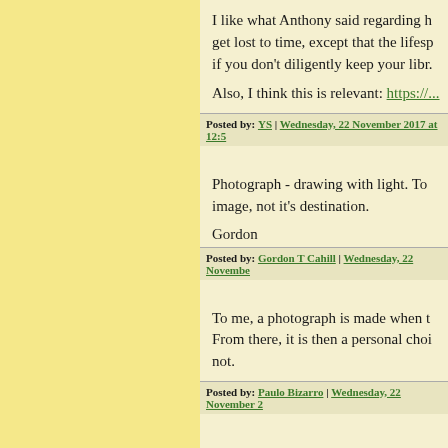I like what Anthony said regarding h... get lost to time, except that the lifes... if you don't diligently keep your libr...
Also, I think this is relevant: https://...
Posted by: YS | Wednesday, 22 November 2017 at 12:5...
Photograph - drawing with light. To... image, not it's destination.
Gordon
Posted by: Gordon T Cahill | Wednesday, 22 Novembe...
To me, a photograph is made when t... From there, it is then a personal choi... not.
Posted by: Paulo Bizarro | Wednesday, 22 November 2...